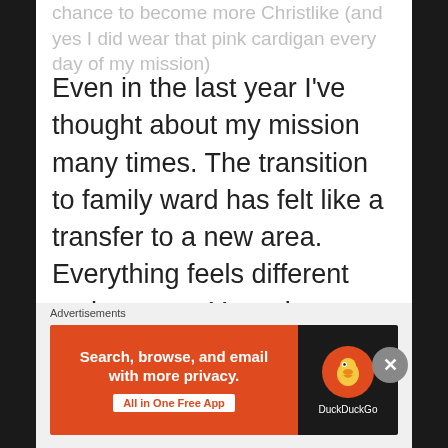chance to become more Christlike (and yes I did wear that pink cardigan every day of my mission)
Even in the last year I've thought about my mission many times.  The transition to family ward has felt like a transfer to a new area.  Everything feels different and strange.  You miss your old area but you try to get to work as fast as you can.  I'm still not 100% but I'm trying.  I also think of my mission when life gets hard and I want to give up (and boy can it ever get hard, almost overwhelming)  In those dark hours I often remember my mission and say to
Advertisements
[Figure (other): DuckDuckGo advertisement banner: orange section with text 'Search, browse, and email with more privacy.' and 'All in One Free App' button, plus dark section with DuckDuckGo duck logo and brand name.]